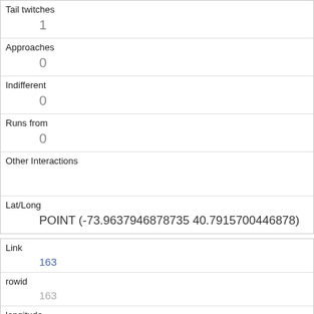| Tail twitches | 1 |
| Approaches | 0 |
| Indifferent | 0 |
| Runs from | 0 |
| Other Interactions |  |
| Lat/Long | POINT (-73.9637946878735 40.7915700446878) |
| Link | 163 |
| rowid | 163 |
| longitude | -73.97123088643941 |
| latitude | 40.77145348473379 |